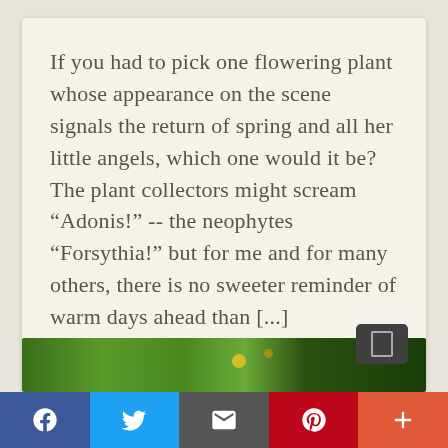If you had to pick one flowering plant whose appearance on the scene signals the return of spring and all her little angels, which one would it be? The plant collectors might scream “Adonis!” -- the neophytes “Forsythia!” but for me and for many others, there is no sweeter reminder of warm days ahead than [...]
Read More ▹
[Figure (photo): A strip showing plants and flowers with green foliage and a dark badge overlay on the right side.]